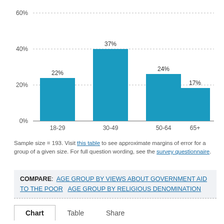[Figure (bar-chart): ]
Sample size = 193. Visit this table to see approximate margins of error for a group of a given size. For full question wording, see the survey questionnaire.
COMPARE: AGE GROUP BY VIEWS ABOUT GOVERNMENT AID TO THE POOR  AGE GROUP BY RELIGIOUS DENOMINATION
Chart  Table  Share